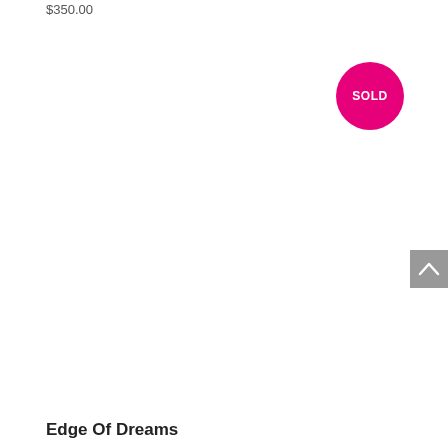$350.00
[Figure (other): Pink circular badge with white bold text reading SOLD]
[Figure (other): Grey scroll-to-top button with upward chevron arrow]
Edge Of Dreams